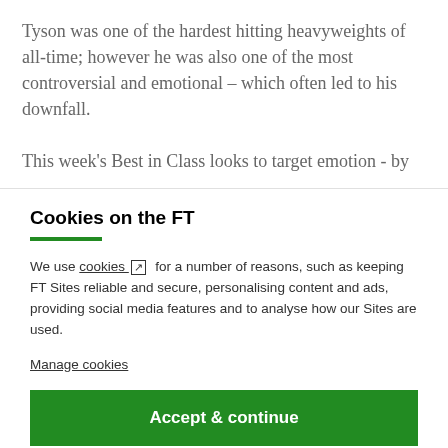Tyson was one of the hardest hitting heavyweights of all-time; however he was also one of the most controversial and emotional – which often led to his downfall.

This week's Best in Class looks to target emotion - by
Cookies on the FT
We use cookies ↗ for a number of reasons, such as keeping FT Sites reliable and secure, personalising content and ads, providing social media features and to analyse how our Sites are used.
Manage cookies
Accept & continue